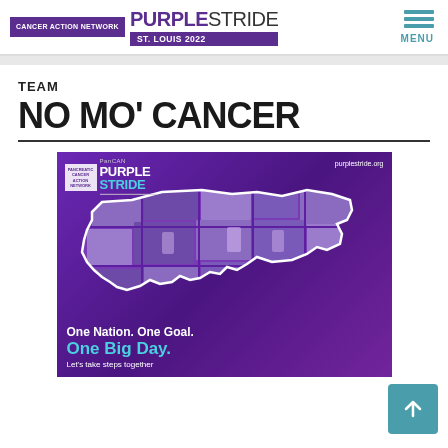PurpleStride St. Louis 2022 - Cancer Action Network | MENU
TEAM
NO MO' CANCER
[Figure (photo): PanCAN PurpleStride promotional image showing a collage of participant photos in the shape of the United States on a purple background, with text: One Nation. One Goal. One Big Day. Let's take steps together. purplestride.org]